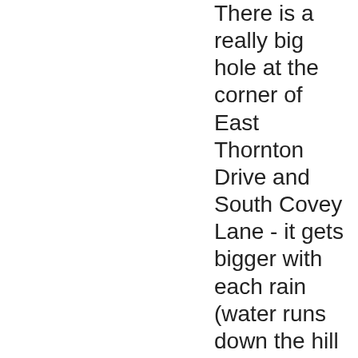There is a really big hole at the corner of East Thornton Drive and South Covey Lane - it gets bigger with each rain (water runs down the hill off Thornton). Do you think that this can be patched soon before it gets much worse? Thank you so much.